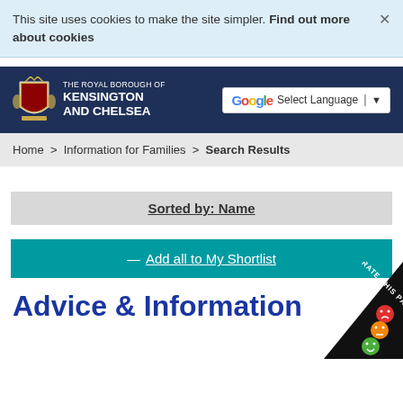This site uses cookies to make the site simpler. Find out more about cookies
[Figure (logo): The Royal Borough of Kensington and Chelsea logo with coat of arms and Google Translate Select Language button]
Home > Information for Families > Search Results
Sorted by: Name
Add all to My Shortlist
Advice & Information
Direc...